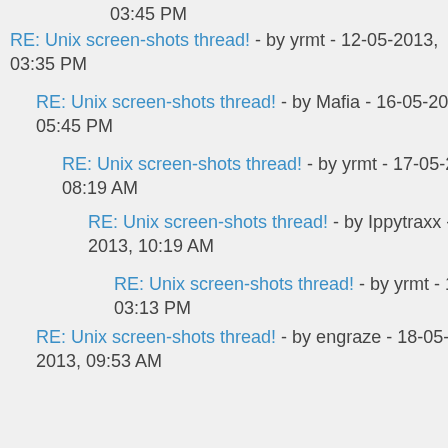03:45 PM
RE: Unix screen-shots thread! - by yrmt - 12-05-2013, 03:35 PM
RE: Unix screen-shots thread! - by Mafia - 16-05-2013, 05:45 PM
RE: Unix screen-shots thread! - by yrmt - 17-05-2013, 08:19 AM
RE: Unix screen-shots thread! - by Ippytraxx - 17-05-2013, 10:19 AM
RE: Unix screen-shots thread! - by yrmt - 17-05-2013, 03:13 PM
RE: Unix screen-shots thread! - by engraze - 18-05-2013, 09:53 AM
RE: Unix screen-shots thread! - by KittyKatt - 16-05-2013, 12:58 AM
RE: Unix screen-shots thread! - by orochi - 17-05-2013, 03:11 PM
RE: Unix screen-shots thread! - by Mafia - 18-05-2013, 01:25 AM
RE: Unix screen-shots thread! - by yrmt - 18-05-2013, 09:58 AM